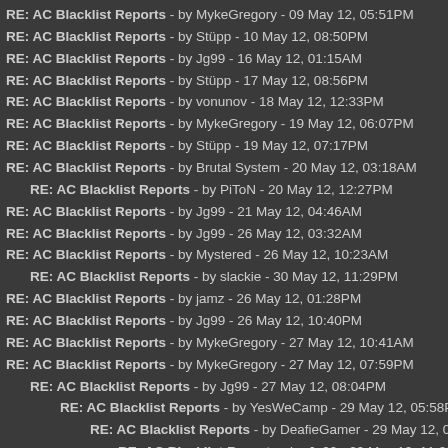RE: AC Blacklist Reports - by MykeGregory - 09 May 12, 05:51PM
RE: AC Blacklist Reports - by Stüpp - 10 May 12, 08:50PM
RE: AC Blacklist Reports - by Jg99 - 16 May 12, 01:15AM
RE: AC Blacklist Reports - by Stüpp - 17 May 12, 08:56PM
RE: AC Blacklist Reports - by vonunov - 18 May 12, 12:33PM
RE: AC Blacklist Reports - by MykeGregory - 19 May 12, 06:07PM
RE: AC Blacklist Reports - by Stüpp - 19 May 12, 07:17PM
RE: AC Blacklist Reports - by Brutal System - 20 May 12, 03:18AM
RE: AC Blacklist Reports - by PiToN - 20 May 12, 12:27PM
RE: AC Blacklist Reports - by Jg99 - 21 May 12, 04:46AM
RE: AC Blacklist Reports - by Jg99 - 26 May 12, 03:32AM
RE: AC Blacklist Reports - by Mystered - 26 May 12, 10:23AM
RE: AC Blacklist Reports - by slackie - 30 May 12, 11:29PM
RE: AC Blacklist Reports - by jamz - 26 May 12, 01:28PM
RE: AC Blacklist Reports - by Jg99 - 26 May 12, 10:40PM
RE: AC Blacklist Reports - by MykeGregory - 27 May 12, 10:41AM
RE: AC Blacklist Reports - by MykeGregory - 27 May 12, 07:59PM
RE: AC Blacklist Reports - by Jg99 - 27 May 12, 08:04PM
RE: AC Blacklist Reports - by YesWeCamp - 29 May 12, 05:58PM
RE: AC Blacklist Reports - by DeafieGamer - 29 May 12, 07:02PM
RE: AC Blacklist Reports - by Jg99 - 29 May 12, 11:29PM
RE: AC Blacklist Reports - by MykeGregory - 28 May 12, 05:12PM
RE: AC Blacklist Reports - by MykeGregory - 29 May 12, 08:10PM
RE: AC Blacklist Reports - by AlliumM - 30 May 12, 06:53AM
RE: AC Blacklist Reports - by DeafieGamer - 30 May 12, 01:01PM